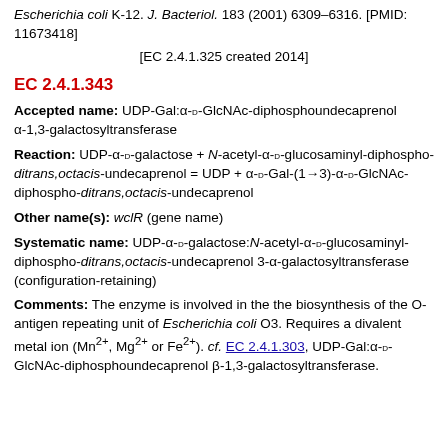Escherichia coli K-12. J. Bacteriol. 183 (2001) 6309–6316. [PMID: 11673418]
[EC 2.4.1.325 created 2014]
EC 2.4.1.343
Accepted name: UDP-Gal:α-D-GlcNAc-diphosphoundecaprenol α-1,3-galactosyltransferase
Reaction: UDP-α-D-galactose + N-acetyl-α-D-glucosaminyl-diphospho-ditrans,octacis-undecaprenol = UDP + α-D-Gal-(1→3)-α-D-GlcNAc-diphospho-ditrans,octacis-undecaprenol
Other name(s): wclR (gene name)
Systematic name: UDP-α-D-galactose:N-acetyl-α-D-glucosaminyl-diphospho-ditrans,octacis-undecaprenol 3-α-galactosyltransferase (configuration-retaining)
Comments: The enzyme is involved in the the biosynthesis of the O-antigen repeating unit of Escherichia coli O3. Requires a divalent metal ion (Mn2+, Mg2+ or Fe2+). cf. EC 2.4.1.303, UDP-Gal:α-D-GlcNAc-diphosphoundecaprenol β-1,3-galactosyltransferase.